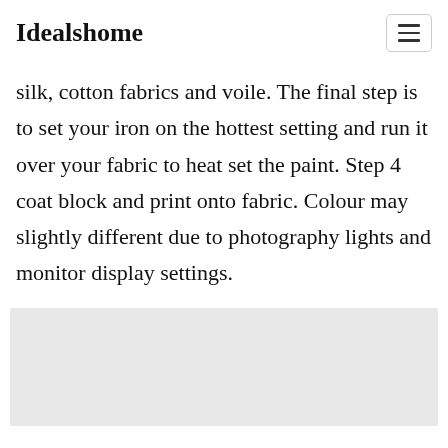Idealshome
silk, cotton fabrics and voile. The final step is to set your iron on the hottest setting and run it over your fabric to heat set the paint. Step 4 coat block and print onto fabric. Colour may slightly different due to photography lights and monitor display settings.
[Figure (photo): A light grey rectangular placeholder image area at the bottom of the page]